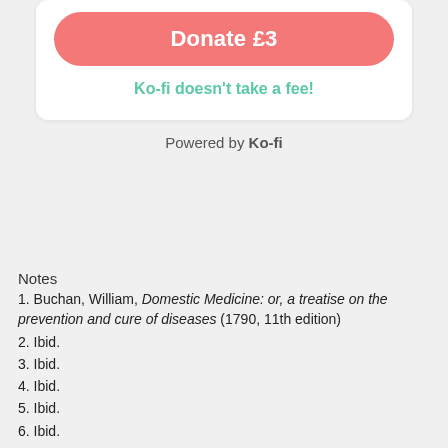[Figure (other): Donate button widget with Ko-fi branding showing a red rounded button labeled 'Donate £3' and green text 'Ko-fi doesn't take a fee!']
Powered by Ko-fi
Notes
1. Buchan, William, Domestic Medicine: or, a treatise on the prevention and cure of diseases (1790, 11th edition)
2. Ibid.
3. Ibid.
4. Ibid.
5. Ibid.
6. Ibid.